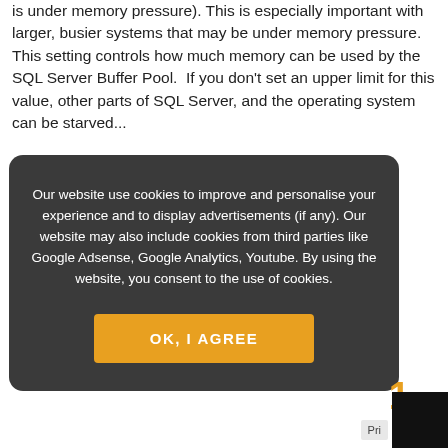is under memory pressure). This is especially important with larger, busier systems that may be under memory pressure. This setting controls how much memory can be used by the SQL Server Buffer Pool.  If you don't set an upper limit for this value, other parts of SQL Server, and the operating system can be starved...
Our website use cookies to improve and personalise your experience and to display advertisements (if any). Our website may also include cookies from third parties like Google Adsense, Google Analytics, Youtube. By using the website, you consent to the use of cookies.
OK, I AGREE